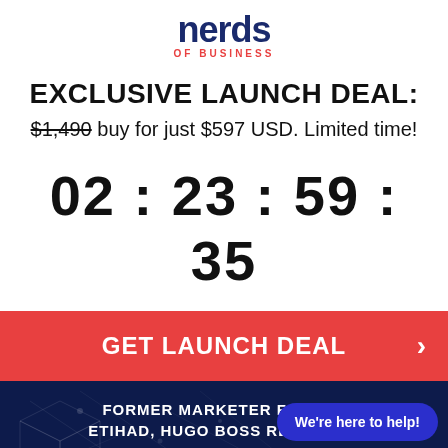[Figure (logo): Nerds of Business logo — bold dark blue text 'nerds' with red 'OF BUSINESS' subtitle]
EXCLUSIVE LAUNCH DEAL:
$1,490 buy for just $597 USD. Limited time!
02 : 23 : 59 : 35
GET LAUNCH DEAL
FORMER MARKETER FOR M... ETIHAD, HUGO BOSS REVEALS...
HOW TO HARNESS TH... POWER OF
We're here to help!